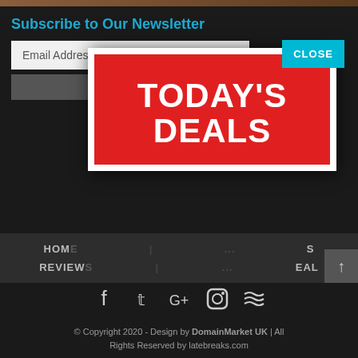Subscribe to Our Newsletter
Email Address *
[Figure (screenshot): Popup modal with red background showing 'TODAY'S DEALS' in bold white text, with a cyan CLOSE button in top-right corner]
HOME | REVIEWS | S | EAL
[Figure (infographic): Social media icons: Facebook, Twitter, Google+, Instagram, RSS feed]
© Copyright 2020 - Design by DomainMarket UK | All Rights Reserved by latebreaks.com